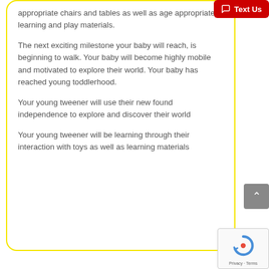appropriate chairs and tables as well as age appropriate learning and play materials.
The next exciting milestone your baby will reach, is beginning to walk. Your baby will become highly mobile and motivated to explore their world. Your baby has reached young toddlerhood.
Your young tweener will use their new found independence to explore and discover their world
Your young tweener will be learning through their interaction with toys as well as learning materials